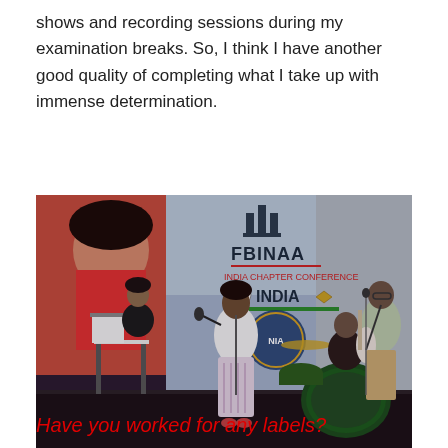shows and recording sessions during my examination breaks. So, I think I have another good quality of completing what I take up with immense determination.
[Figure (photo): A live music performance at an FBINAA India event. A female singer in a white top and patterned pants holds a microphone at center stage. A keyboardist in black stands to her left, a guitarist in light blue shirt stands to her right, and a drummer is visible in the background. The backdrop displays 'FBINAA' with a building logo and 'INDIA' text with decorative emblems.]
Have you worked for any labels?